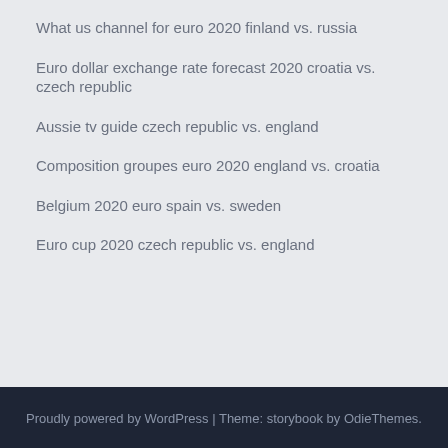What us channel for euro 2020 finland vs. russia
Euro dollar exchange rate forecast 2020 croatia vs. czech republic
Aussie tv guide czech republic vs. england
Composition groupes euro 2020 england vs. croatia
Belgium 2020 euro spain vs. sweden
Euro cup 2020 czech republic vs. england
Proudly powered by WordPress | Theme: storybook by OdieThemes.